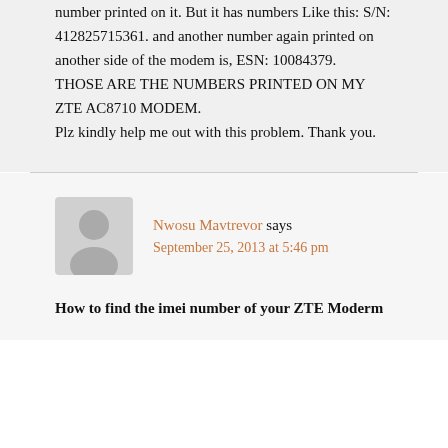number printed on it. But it has numbers Like this: S/N: 412825715361. and another number again printed on another side of the modem is, ESN: 10084379. THOSE ARE THE NUMBERS PRINTED ON MY ZTE AC8710 MODEM. Plz kindly help me out with this problem. Thank you.
Nwosu Mavtrevor says September 25, 2013 at 5:46 pm
How to find the imei number of your ZTE Moderm